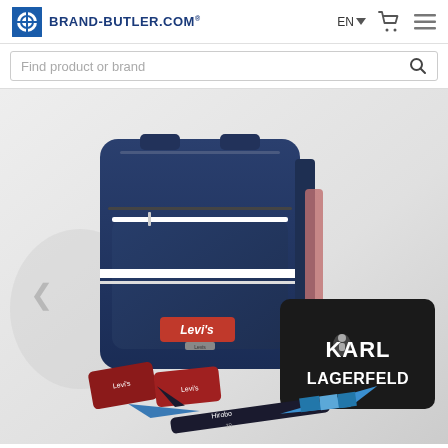BRAND-BUTLER.COM
Find product or brand
[Figure (photo): E-commerce website screenshot showing branded merchandise: a navy Levi's shoulder bag, Karl Lagerfeld black pouch, Levi's red erasers, and a blue toy glider airplane, on a light grey background.]